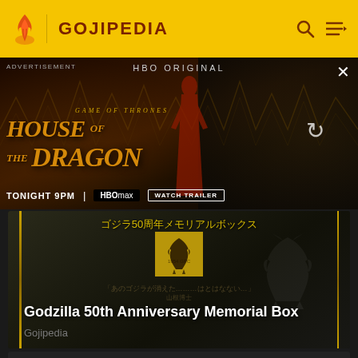GOJIPEDIA
[Figure (screenshot): Advertisement banner for HBO's House of the Dragon - Game of Thrones spin-off. Shows 'TONIGHT 9PM | HBO max | WATCH TRAILER'. Dark fantasy background with character silhouette and dragon imagery.]
[Figure (photo): Godzilla 50th Anniversary Memorial Box product image. Dark background with gold border accents, Japanese text reading ゴジラ50周年メモリアルボックス (Godzilla 50th Anniversary Memorial Box), gold Godzilla emblem in center.]
Godzilla 50th Anniversary Memorial Box
Gojipedia